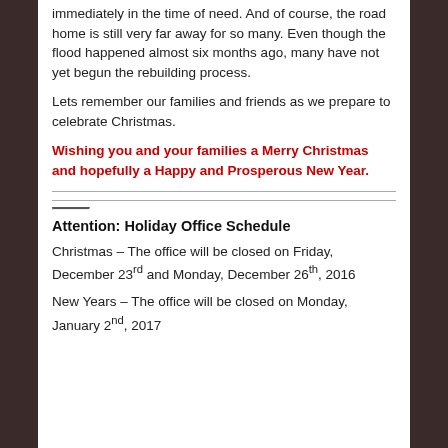immediately in the time of need. And of course, the road home is still very far away for so many. Even though the flood happened almost six months ago, many have not yet begun the rebuilding process.
Lets remember our families and friends as we prepare to celebrate Christmas.
Wishing you and your families a Merry Christmas and hopefully a Happy and Prosperous New Year.
Attention: Holiday Office Schedule
Christmas – The office will be closed on Friday, December 23rd and Monday, December 26th, 2016
New Years – The office will be closed on Monday, January 2nd, 2017